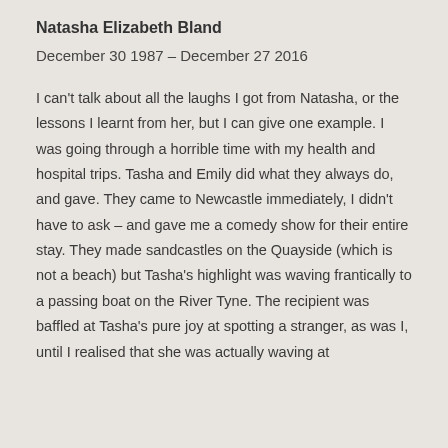Natasha Elizabeth Bland
December 30 1987 – December 27 2016
I can't talk about all the laughs I got from Natasha, or the lessons I learnt from her, but I can give one example. I was going through a horrible time with my health and hospital trips. Tasha and Emily did what they always do, and gave. They came to Newcastle immediately, I didn't have to ask – and gave me a comedy show for their entire stay. They made sandcastles on the Quayside (which is not a beach) but Tasha's highlight was waving frantically to a passing boat on the River Tyne. The recipient was baffled at Tasha's pure joy at spotting a stranger, as was I, until I realised that she was actually waving at